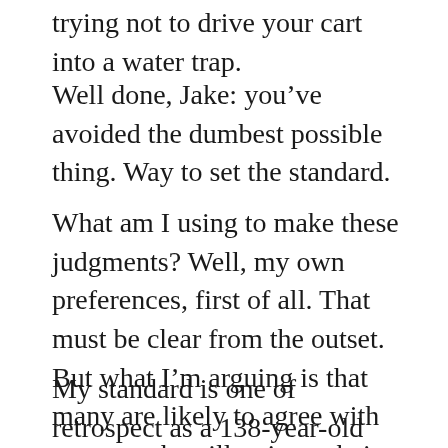trying not to drive your cart into a water trap.
Well done, Jake: you’ve avoided the dumbest possible thing. Way to set the standard.
What am I using to make these judgments? Well, my own preferences, first of all. That must be clear from the outset. But what I’m arguing is that many are likely to agree with me once they illuminate their own implicit choices.
My standard is one of retrospect as a 138-year-old person who is about to die. I’m evaluating in terms of what I accomplished